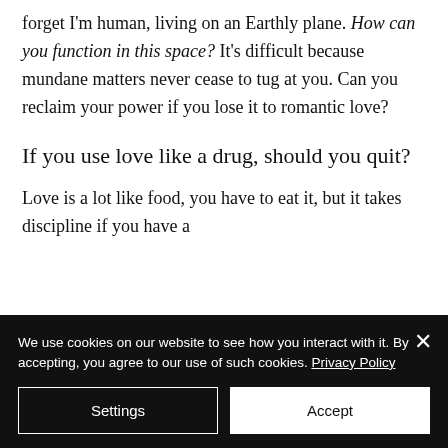forget I'm human, living on an Earthly plane. How can you function in this space? It's difficult because mundane matters never cease to tug at you. Can you reclaim your power if you lose it to romantic love?
If you use love like a drug, should you quit?
Love is a lot like food, you have to eat it, but it takes discipline if you have a
We use cookies on our website to see how you interact with it. By accepting, you agree to our use of such cookies. Privacy Policy